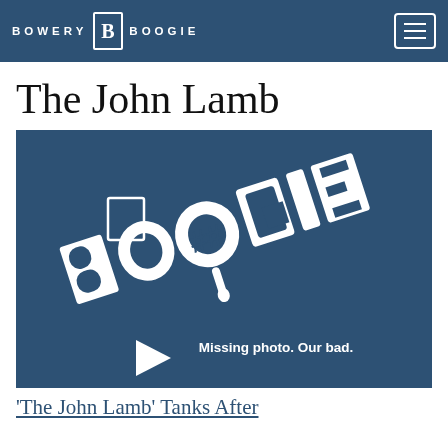BOWERY BOOGIE
The John Lamb
[Figure (illustration): Bowery Boogie placeholder image with graffiti-style 'BOOGIE' text on a dark blue background and text reading 'Missing photo. Our bad.']
'The John Lamb' Tanks After